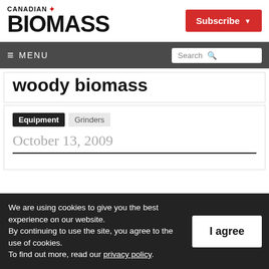CANADIAN BIOMASS
woody biomass
Equipment | Grinders
October 13, 2009
We are using cookies to give you the best experience on our website. By continuing to use the site, you agree to the use of cookies. To find out more, read our privacy policy.